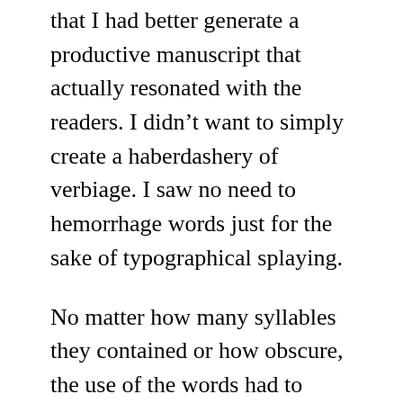that I had better generate a productive manuscript that actually resonated with the readers. I didn't want to simply create a haberdashery of verbiage. I saw no need to hemorrhage words just for the sake of typographical splaying.
No matter how many syllables they contained or how obscure, the use of the words had to make sense. I wanted such exhortation to be both sanguine and seminal. That amalgamation would be a challenge. I emphatically didn't want my text to be blowviating.
It would be inscrutable of me if the sentences